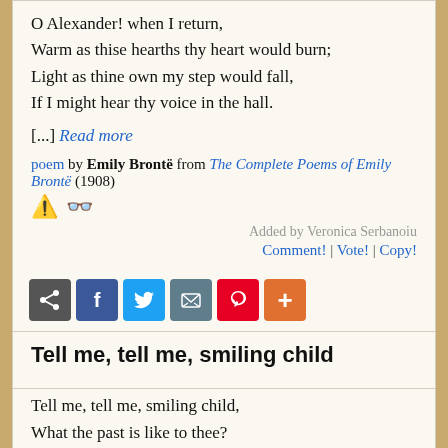O Alexander! when I return,
Warm as thise hearths thy heart would burn;
Light as thine own my step would fall,
If I might hear thy voice in the hall.
[...] Read more
poem by Emily Brontë from The Complete Poems of Emily Brontë (1908)
Added by Veronica Serbanoiu
Comment! | Vote! | Copy!
[Figure (infographic): Social sharing bar with share icon, Facebook, Twitter, email, Pinterest, and plus buttons]
Tell me, tell me, smiling child
Tell me, tell me, smiling child,
What the past is like to thee?
An Autumn evening, soft and mild,
With a wind that sighs mournfully.